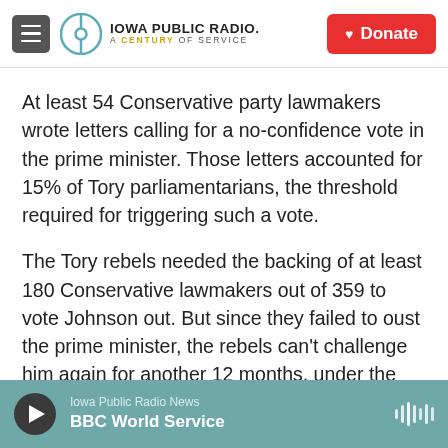Iowa Public Radio — A Century of Service | Donate
At least 54 Conservative party lawmakers wrote letters calling for a no-confidence vote in the prime minister. Those letters accounted for 15% of Tory parliamentarians, the threshold required for triggering such a vote.
The Tory rebels needed the backing of at least 180 Conservative lawmakers out of 359 to vote Johnson out. But since they failed to oust the prime minister, the rebels can't challenge him again for another 12 months, under the current rules.
Iowa Public Radio News — BBC World Service